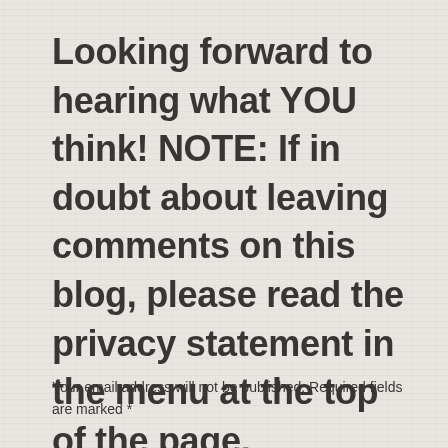Looking forward to hearing what YOU think! NOTE: If in doubt about leaving comments on this blog, please read the privacy statement in the menu at the top of the page.
Your email address will not be published. Required fields are marked *